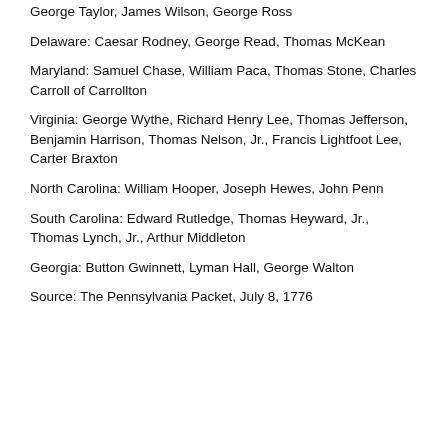George Taylor, James Wilson, George Ross
Delaware: Caesar Rodney, George Read, Thomas McKean
Maryland: Samuel Chase, William Paca, Thomas Stone, Charles Carroll of Carrollton
Virginia: George Wythe, Richard Henry Lee, Thomas Jefferson, Benjamin Harrison, Thomas Nelson, Jr., Francis Lightfoot Lee, Carter Braxton
North Carolina: William Hooper, Joseph Hewes, John Penn
South Carolina: Edward Rutledge, Thomas Heyward, Jr., Thomas Lynch, Jr., Arthur Middleton
Georgia: Button Gwinnett, Lyman Hall, George Walton
Source: The Pennsylvania Packet, July 8, 1776